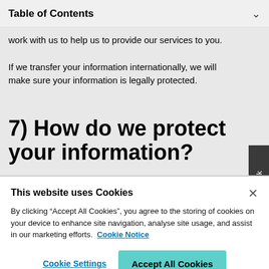Table of Contents
work with us to help us to provide our services to you.
If we transfer your information internationally, we will make sure your information is legally protected.
7) How do we protect your information?
This website uses Cookies
By clicking “Accept All Cookies”, you agree to the storing of cookies on your device to enhance site navigation, analyse site usage, and assist in our marketing efforts. Cookie Notice
Cookie Settings  Accept All Cookies